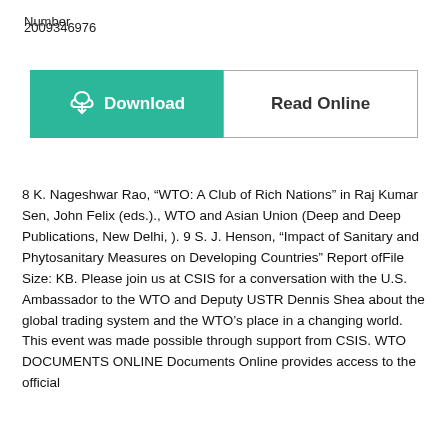Number 2009346976
[Figure (other): Two buttons side by side: a teal/green Download button with a cloud download icon on the left, and a white Read Online button with black border on the right.]
8 K. Nageshwar Rao, “WTO: A Club of Rich Nations” in Raj Kumar Sen, John Felix (eds.)., WTO and Asian Union (Deep and Deep Publications, New Delhi, ). 9 S. J. Henson, “Impact of Sanitary and Phytosanitary Measures on Developing Countries” Report ofFile Size: KB. Please join us at CSIS for a conversation with the U.S. Ambassador to the WTO and Deputy USTR Dennis Shea about the global trading system and the WTO’s place in a changing world. This event was made possible through support from CSIS. WTO DOCUMENTS ONLINE Documents Online provides access to the official